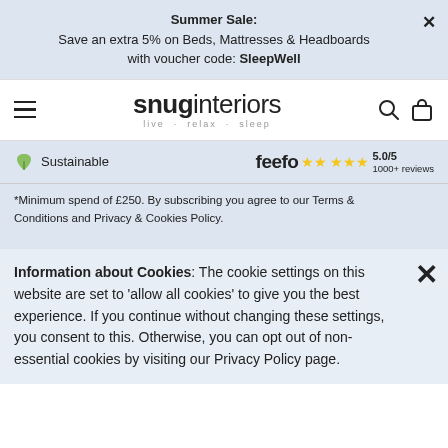Summer Sale: Save an extra 5% on Beds, Mattresses & Headboards with voucher code: SleepWell
[Figure (logo): snuginteriors logo with tagline 'live · relax · sleep']
Sustainable   feefo ★★★★★ 5.0/5  1000+ reviews
*Minimum spend of £250. By subscribing you agree to our Terms & Conditions and Privacy & Cookies Policy.
Information about Cookies: The cookie settings on this website are set to 'allow all cookies' to give you the best experience. If you continue without changing these settings, you consent to this. Otherwise, you can opt out of non-essential cookies by visiting our Privacy Policy page.